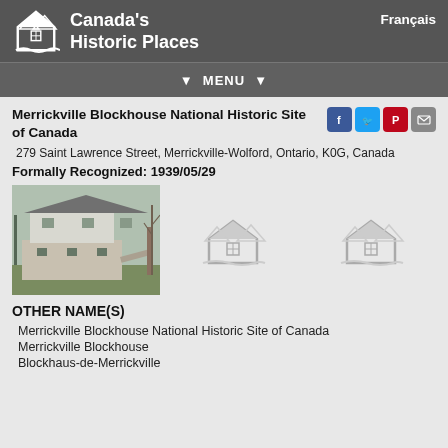Canada's Historic Places
Merrickville Blockhouse National Historic Site of Canada
279 Saint Lawrence Street, Merrickville-Wolford, Ontario, K0G, Canada
Formally Recognized: 1939/05/29
[Figure (photo): Photo of the Merrickville Blockhouse, a two-storey stone and wood structure]
[Figure (logo): Canada's Historic Places placeholder logo icon (grey)]
[Figure (logo): Canada's Historic Places placeholder logo icon (grey)]
OTHER NAME(S)
Merrickville Blockhouse National Historic Site of Canada
Merrickville Blockhouse
Blockhaus-de-Merrickville